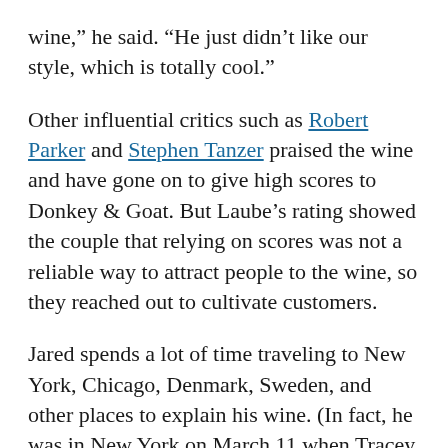wine,” he said. “He just didn’t like our style, which is totally cool.”
Other influential critics such as Robert Parker and Stephen Tanzer praised the wine and have gone on to give high scores to Donkey & Goat. But Laube’s rating showed the couple that relying on scores was not a reliable way to attract people to the wine, so they reached out to cultivate customers.
Jared spends a lot of time traveling to New York, Chicago, Denmark, Sweden, and other places to explain his wine. (In fact, he was in New York on March 11 when Tracey went into early labor. He missed the birth of his second daughter, Lily.) He tweets regularly, uses Foursquare and Facebook and has built a cult about Donkey & Goat. He